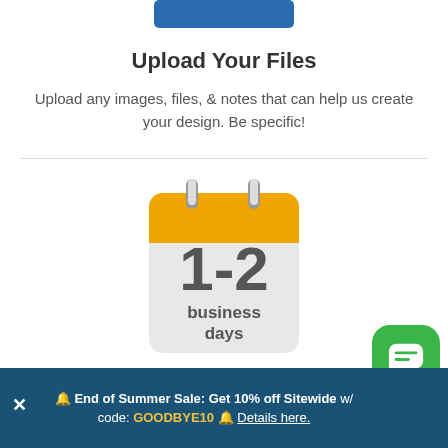[Figure (illustration): Partial blue button at top of page]
Upload Your Files
Upload any images, files, & notes that can help us create your design. Be specific!
[Figure (illustration): Calendar icon showing '1-2 business days' with orange header and grey body]
Response within 1-2 Business Days
🔔 End of Summer Sale: Get 10% off Sitewide w/ code: GOODBYE10 🔔 Details here.